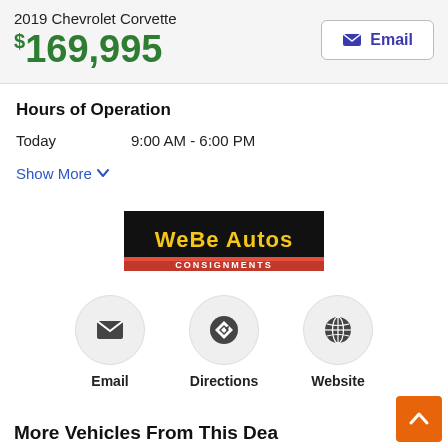2019 Chevrolet Corvette
$169,995
Hours of Operation
Today  9:00 AM - 6:00 PM
Show More
[Figure (logo): WeBe Autos Consignments logo — black background with yellow and red stylized text]
Email
Directions
Website
More Vehicles From This Dealer